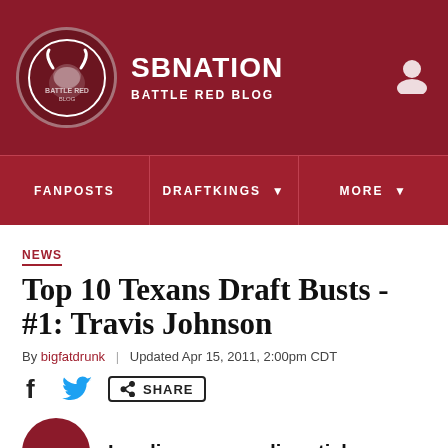SB NATION | BATTLE RED BLOG
FANPOSTS | DRAFTKINGS | MORE
NEWS
Top 10 Texans Draft Busts - #1: Travis Johnson
By bigfatdrunk | Updated Apr 15, 2011, 2:00pm CDT
SHARE
Loading your audio article